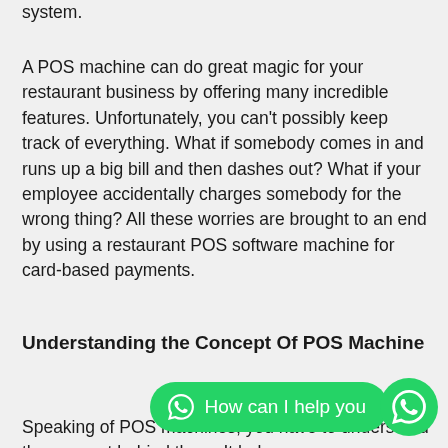system.
A POS machine can do great magic for your restaurant business by offering many incredible features. Unfortunately, you can't possibly keep track of everything. What if somebody comes in and runs up a big bill and then dashes out? What if your employee accidentally charges somebody for the wrong thing? All these worries are brought to an end by using a restaurant POS software machine for card-based payments.
Understanding the Concept Of POS Machine
Speaking of POS machines, you have to understand the concept behind them. It helps